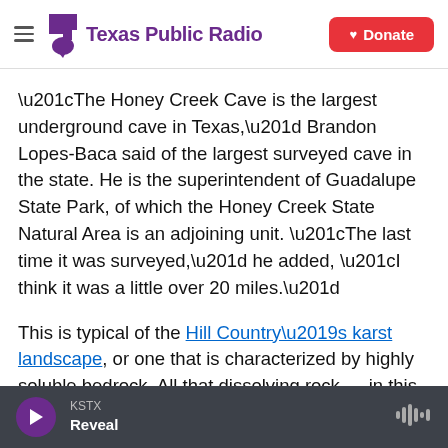Texas Public Radio | Donate
“The Honey Creek Cave is the largest underground cave in Texas,” Brandon Lopes-Baca said of the largest surveyed cave in the state. He is the superintendent of Guadalupe State Park, of which the Honey Creek State Natural Area is an adjoining unit. “The last time it was surveyed,” he added, “I think it was a little over 20 miles.”
This is typical of the Hill Country’s karst landscape, or one that is characterized by highly soluble bedrock. All that dissolving rock — in this case limestone — creates typical landforms such as
KSTX | Reveal